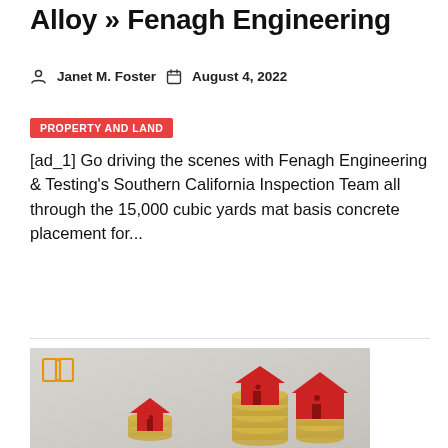Alloy » Fenagh Engineering
Janet M. Foster   August 4, 2022
PROPERTY AND LAND
[ad_1] Go driving the scenes with Fenagh Engineering & Testing's Southern California Inspection Team all through the 15,000 cubic yards mat basis concrete placement for...
[Figure (photo): Photo of red toy houses stacked on top of piles of coins, representing property and real estate investment. A yellow open book icon is overlaid in the top-left corner of the image.]